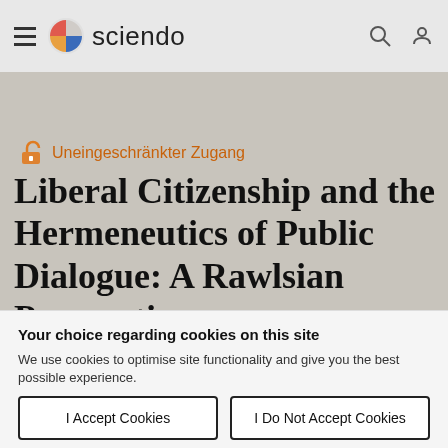sciendo
Uneingeschränkter Zugang
Liberal Citizenship and the Hermeneutics of Public Dialogue: A Rawlsian Perspective
Your choice regarding cookies on this site
We use cookies to optimise site functionality and give you the best possible experience.
I Accept Cookies
I Do Not Accept Cookies